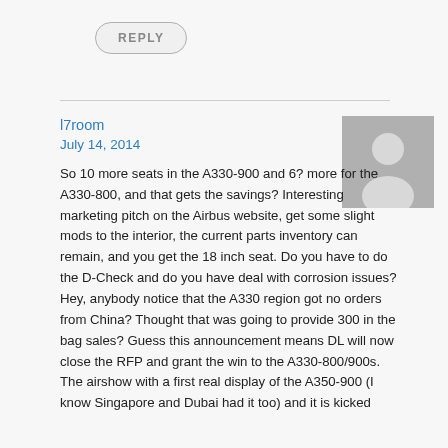REPLY
l7room
July 14, 2014
So 10 more seats in the A330-900 and 6? more for the A330-800, and that gets the savings? Interesting marketing pitch on the Airbus website, get some slight mods to the interior, the current parts inventory can remain, and you get the 18 inch seat. Do you have to do the D-Check and do you have deal with corrosion issues? Hey, anybody notice that the A330 region got no orders from China? Thought that was going to provide 300 in the bag sales? Guess this announcement means DL will now close the RFP and grant the win to the A330-800/900s. The airshow with a first real display of the A350-900 (I know Singapore and Dubai had it too) and it is kicked
[Figure (illustration): Generic user avatar placeholder — silhouette of a person on a grey background]